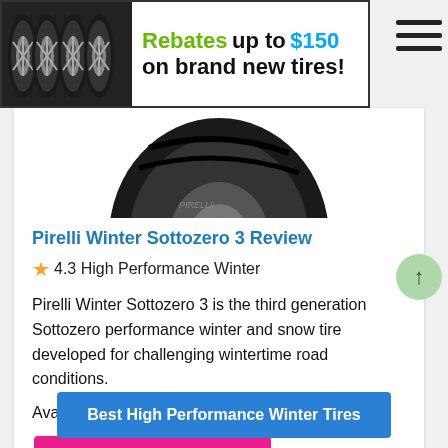[Figure (illustration): Banner ad with four tire/wheel images on dark background and promotional text: Rebates up to $150 on brand new tires!]
[Figure (photo): Pirelli winter tire product photo, partially visible at top of card]
Pirelli Winter Sottozero 3 Review
★4.3 High Performance Winter
Pirelli Winter Sottozero 3 is the third generation Sottozero performance winter and snow tire developed for challenging wintertime road conditions.
Available tire sizes that fit Nissan Kicks:
205/55R17 from $191.71
Best High Performance Winter Tires